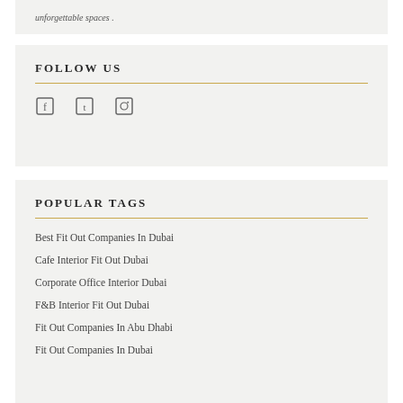unforgettable spaces .
FOLLOW US
[Figure (illustration): Three social media icons in a row]
POPULAR TAGS
Best Fit Out Companies In Dubai
Cafe Interior Fit Out Dubai
Corporate Office Interior Dubai
F&B Interior Fit Out Dubai
Fit Out Companies In Abu Dhabi
Fit Out Companies In Dubai